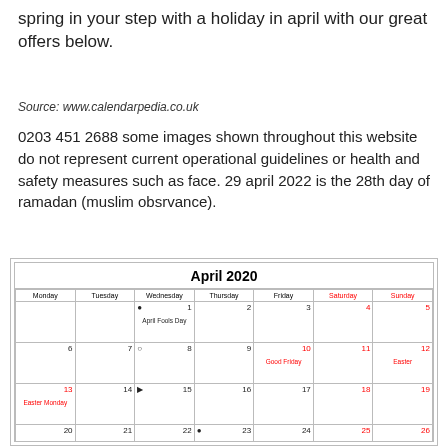spring in your step with a holiday in april with our great offers below.
Source: www.calendarpedia.co.uk
0203 451 2688 some images shown throughout this website do not represent current operational guidelines or health and safety measures such as face. 29 april 2022 is the 28th day of ramadan (muslim obsrvance).
[Figure (other): April 2020 calendar showing days Monday through Sunday, with holidays marked: April Fools Day (Apr 1), Good Friday (Apr 10), Easter (Apr 12), Easter Monday (Apr 13), St. George's Day (Apr 23)]